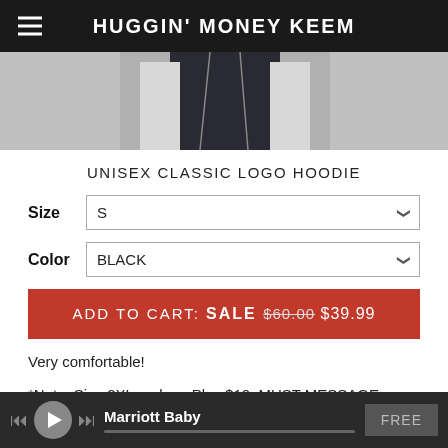HUGGIN' MONEY KEEM
[Figure (photo): Product photo of a dark hoodie garment, partially visible from the top.]
UNISEX CLASSIC LOGO HOODIE
Size  S
Color  BLACK
ADD TO CART:  SALE  $60.00  $39.99
Very comfortable!
*Note: Size 2XL and up: Plus $10. MUST MESSAGE ORDER.
Message to inquire about purchasing custom styles.
Marriott Baby  FREE